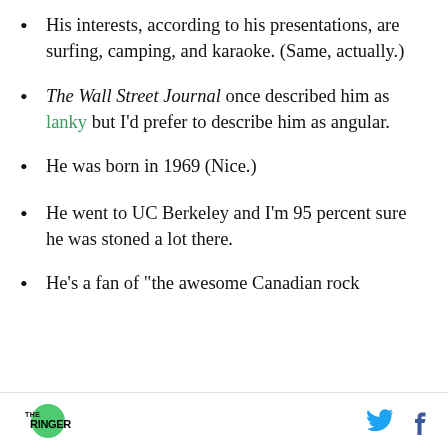His interests, according to his presentations, are surfing, camping, and karaoke. (Same, actually.)
The Wall Street Journal once described him as lanky but I'd prefer to describe him as angular.
He was born in 1969 (Nice.)
He went to UC Berkeley and I'm 95 percent sure he was stoned a lot there.
He's a fan of "the awesome Canadian rock..." (partial)
THE RINGER